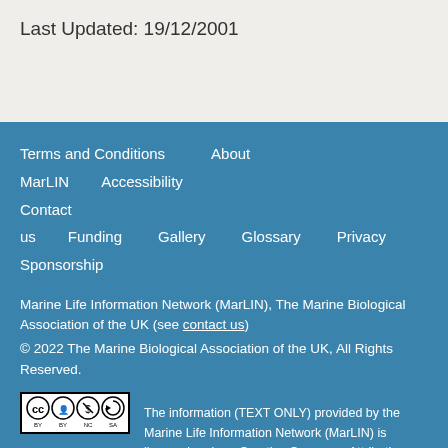Last Updated: 19/12/2001
Terms and Conditions   About MarLIN   Accessibility   Contact us   Funding   Gallery   Glossary   Privacy   Sponsorship
Marine Life Information Network (MarLIN), The Marine Biological Association of the UK (see contact us)
© 2022 The Marine Biological Association of the UK, All Rights Reserved.
The information (TEXT ONLY) provided by the Marine Life Information Network (MarLIN) is licensed under a Creative Commons Attribution-NonCommercial-ShareAlike 4.0 International License. IMAGES and other media featured on this page are each governed by their own terms and conditions and they may or may not be available for reuse. Permissions beyond the scope of this license are detailed under our terms and conditions. Based on a work at www.marlin.ac.uk.